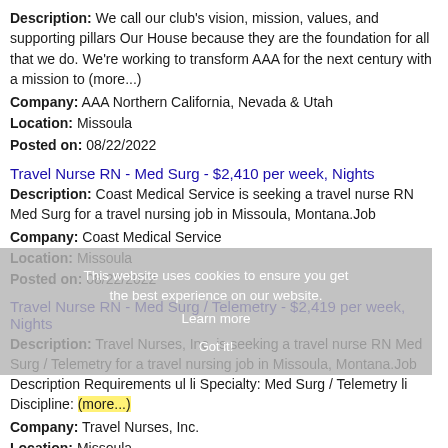Description: We call our club's vision, mission, values, and supporting pillars Our House because they are the foundation for all that we do. We're working to transform AAA for the next century with a mission to (more...)
Company: AAA Northern California, Nevada & Utah
Location: Missoula
Posted on: 08/22/2022
Travel Nurse RN - Med Surg - $2,410 per week, Nights
Description: Coast Medical Service is seeking a travel nurse RN Med Surg for a travel nursing job in Missoula, Montana.Job
Company: Coast Medical Service
Location: Missoula
Posted on: 08/22/2022
Travel Nurse RN - Med Surg / Telemetry - $2,419 per week, Nights
Description: Travel Nurses, Inc. is seeking a travel nurse RN Med Surg / Telemetry for a travel nursing job in Missoula, Montana.Job Description Requirements ul li Specialty: Med Surg / Telemetry li Discipline: (more...)
Company: Travel Nurses, Inc.
Location: Missoula
Posted on: 08/22/2022